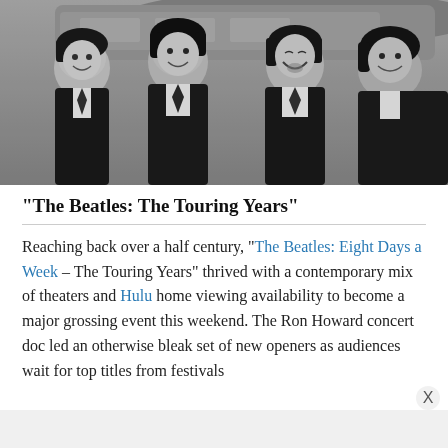[Figure (photo): Black and white photograph of The Beatles (four young men with mop-top haircuts in dark suits) smiling and laughing, photographed in front of what appears to be an airplane.]
“The Beatles: The Touring Years”
Reaching back over a half century, “The Beatles: Eight Days a Week – The Touring Years” thrived with a contemporary mix of theaters and Hulu home viewing availability to become a major grossing event this weekend. The Ron Howard concert doc led an otherwise bleak set of new openers as audiences wait for top titles from festivals